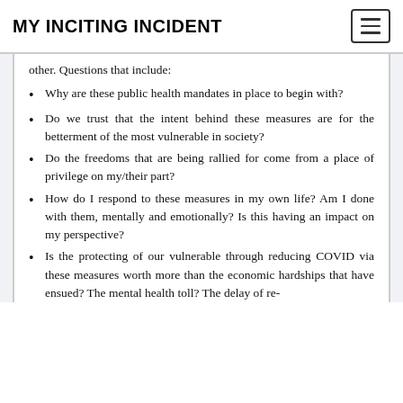MY INCITING INCIDENT
other. Questions that include:
Why are these public health mandates in place to begin with?
Do we trust that the intent behind these measures are for the betterment of the most vulnerable in society?
Do the freedoms that are being rallied for come from a place of privilege on my/their part?
How do I respond to these measures in my own life? Am I done with them, mentally and emotionally? Is this having an impact on my perspective?
Is the protecting of our vulnerable through reducing COVID via these measures worth more than the economic hardships that have ensued? The mental health toll? The delay of re-